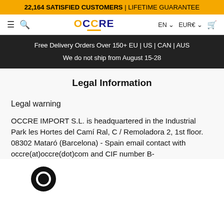22,164 SATISFIED CUSTOMERS | LIFETIME GUARANTEE
OCCRE | EN EUR€
Free Delivery Orders Over 150+ EU | US | CAN | AUS
We do not ship from August 15-28
Legal Information
Legal warning
OCCRE IMPORT S.L. is headquartered in the Industrial Park les Hortes del Camí Ral, C / Remoladora 2, 1st floor. 08302 Mataró (Barcelona) - Spain email contact with occre(at)occre(dot)com and CIF number B-63609867 and is registered in the Commercial…